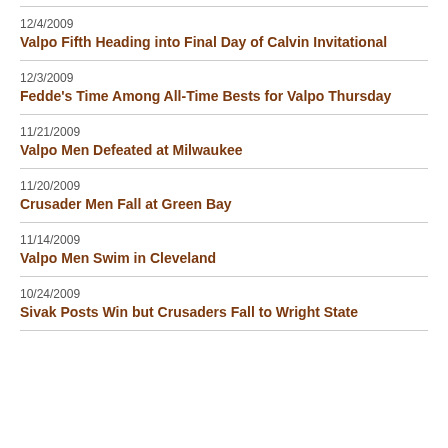12/4/2009
Valpo Fifth Heading into Final Day of Calvin Invitational
12/3/2009
Fedde's Time Among All-Time Bests for Valpo Thursday
11/21/2009
Valpo Men Defeated at Milwaukee
11/20/2009
Crusader Men Fall at Green Bay
11/14/2009
Valpo Men Swim in Cleveland
10/24/2009
Sivak Posts Win but Crusaders Fall to Wright State